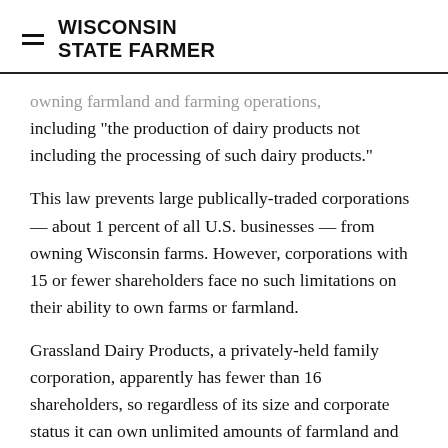WISCONSIN STATE FARMER
…owning farmland and farming operations, including "the production of dairy products not including the processing of such dairy products."
This law prevents large publically-traded corporations — about 1 percent of all U.S. businesses — from owning Wisconsin farms. However, corporations with 15 or fewer shareholders face no such limitations on their ability to own farms or farmland.
Grassland Dairy Products, a privately-held family corporation, apparently has fewer than 16 shareholders, so regardless of its size and corporate status it can own unlimited amounts of farmland and farming operations.